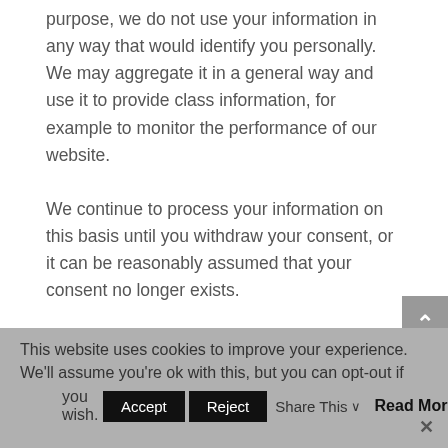purpose, we do not use your information in any way that would identify you personally. We may aggregate it in a general way and use it to provide class information, for example to monitor the performance of our website. We continue to process your information on this basis until you withdraw your consent, or it can be reasonably assumed that your consent no longer exists. You may withdraw your consent at any time by instructing us at the contact details
This website uses cookies to improve your experience. We'll assume you're ok with this, but you can opt-out if you wish.